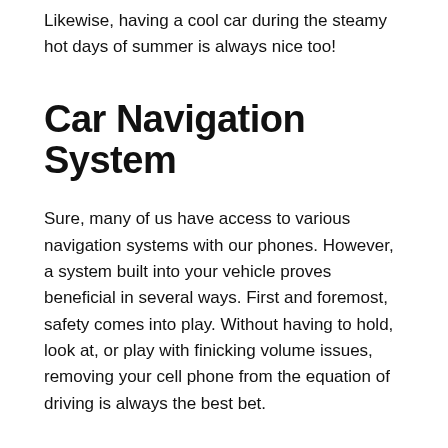Likewise, having a cool car during the steamy hot days of summer is always nice too!
Car Navigation System
Sure, many of us have access to various navigation systems with our phones. However, a system built into your vehicle proves beneficial in several ways. First and foremost, safety comes into play. Without having to hold, look at, or play with finicking volume issues, removing your cell phone from the equation of driving is always the best bet.
Motorcycle Sound System